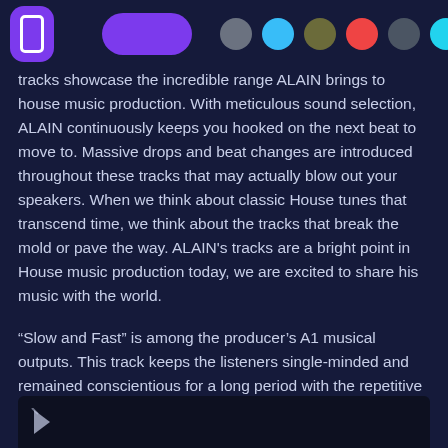[Navigation bar with icon, pill button, and colored dots]
tracks showcase the incredible range ALAIN brings to house music production. With meticulous sound selection, ALAIN continuously keeps you hooked on the next beat to move to. Massive drops and beat changes are introduced throughout these tracks that may actually blow out your speakers. When we think about classic House tunes that transcend time, we think about the tracks that break the mold or pave the way. ALAIN's tracks are a bright point in House music production today, we are excited to share his music with the world.
“Slow and Fast” is among the producer’s A1 musical outputs. This track keeps the listeners single-minded and remained conscientious for a long period with the repetitive rhythm. The viewers probably would get lots of satisfaction out of listening to this track.We are happy to share this delicately dark music with you. We know you'll love it.
[Figure (screenshot): Dark video preview panel at the bottom of the page showing a cursor/play icon on a very dark background]